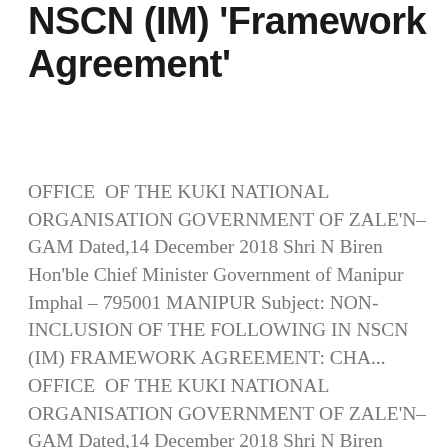ancestral lands in the NSCN (IM) 'Framework Agreement'
OFFICE  OF THE KUKI NATIONAL ORGANISATION GOVERNMENT OF ZALE'N–GAM Dated,14 December 2018 Shri N Biren Hon'ble Chief Minister Government of Manipur Imphal – 795001 MANIPUR Subject: NON-INCLUSION OF THE FOLLOWING IN NSCN (IM) FRAMEWORK AGREEMENT: CHA...
OFFICE  OF THE KUKI NATIONAL ORGANISATION GOVERNMENT OF ZALE'N–GAM Dated,14 December 2018 Shri N Biren